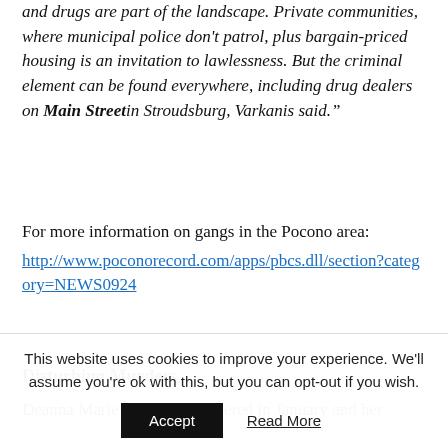and drugs are part of the landscape. Private communities, where municipal police don't patrol, plus bargain-priced housing is an invitation to lawlessness. But the criminal element can be found everywhere, including drug dealers on Main Street in Stroudsburg, Varkanis said.”
For more information on gangs in the Pocono area: http://www.poconorecord.com/apps/pbcs.dll/section?category=NEWS0924
Disturbing Murders
Deanna Marie Null was murdered in January and her
This website uses cookies to improve your experience. We'll assume you're ok with this, but you can opt-out if you wish.